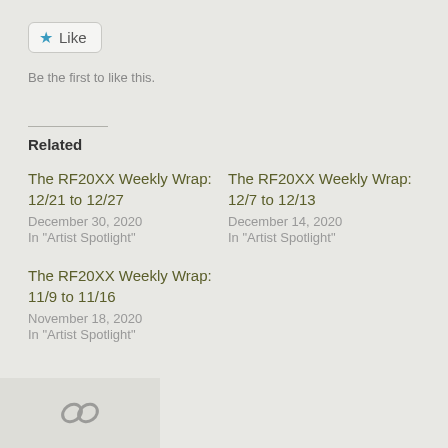[Figure (other): Like button with star icon]
Be the first to like this.
Related
The RF20XX Weekly Wrap: 12/21 to 12/27
December 30, 2020
In "Artist Spotlight"
The RF20XX Weekly Wrap: 12/7 to 12/13
December 14, 2020
In "Artist Spotlight"
The RF20XX Weekly Wrap: 11/9 to 11/16
November 18, 2020
In "Artist Spotlight"
[Figure (other): Share/link icon in a gray box at the bottom left]